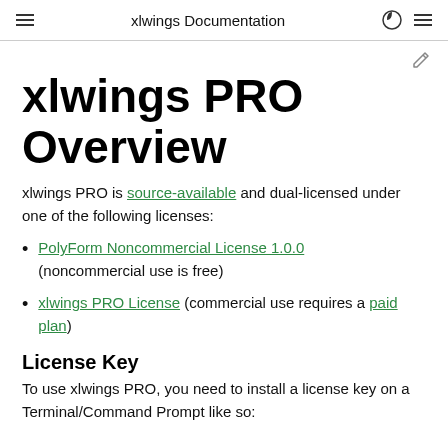xlwings Documentation
xlwings PRO Overview
xlwings PRO is source-available and dual-licensed under one of the following licenses:
PolyForm Noncommercial License 1.0.0 (noncommercial use is free)
xlwings PRO License (commercial use requires a paid plan)
License Key
To use xlwings PRO, you need to install a license key on a Terminal/Command Prompt like so: